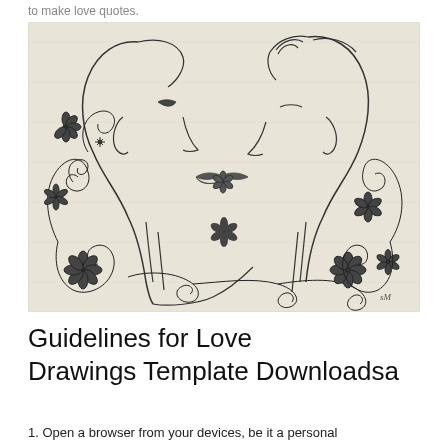to make love quotes.
[Figure (illustration): Pencil sketch illustration of two people facing each other, nearly kissing, surrounded by decorative floral swirls and flowers. Drawn in a romantic art style on textured paper background.]
Guidelines for Love Drawings Template Downloadsa
1. Open a browser from your devices, be it a personal